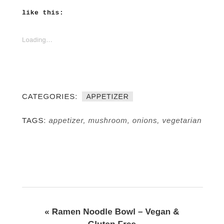like this:
Loading...
CATEGORIES: APPETIZER
TAGS: appetizer, mushroom, onions, vegetarian
« Ramen Noodle Bowl – Vegan & Gluten Free